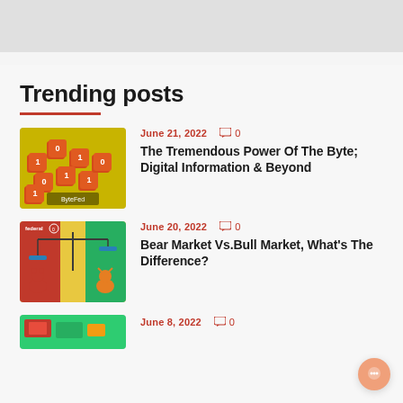[Figure (other): Top banner/header gray area]
Trending posts
[Figure (photo): Photo of digital number blocks/cubes with 0s and 1s on yellow background, ByteFed branding]
June 21, 2022   0
The Tremendous Power Of The Byte; Digital Information & Beyond
[Figure (illustration): Illustration of bear vs bull market with scales on colorful background, federal branding]
June 20, 2022   0
Bear Market Vs.Bull Market, What's The Difference?
[Figure (photo): Partial thumbnail at bottom of page]
June 8, 2022   0